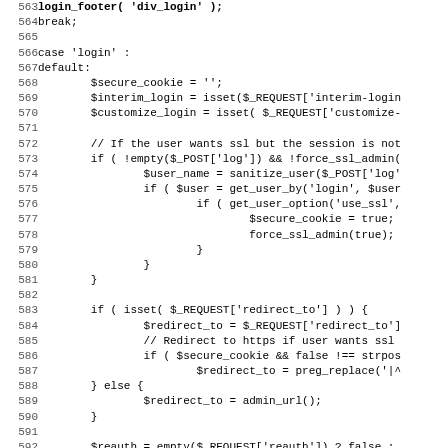[Figure (screenshot): Source code listing in PHP showing lines 563-595. Code includes a switch case for 'login', handling secure cookies, interim login, customize login, SSL checks, redirect logic, and reauth variable.]